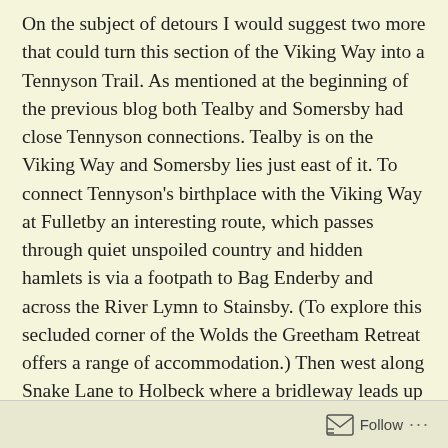On the subject of detours I would suggest two more that could turn this section of the Viking Way into a Tennyson Trail. As mentioned at the beginning of the previous blog both Tealby and Somersby had close Tennyson connections. Tealby is on the Viking Way and Somersby lies just east of it. To connect Tennyson's birthplace with the Viking Way at Fulletby an interesting route, which passes through quiet unspoiled country and hidden hamlets is via a footpath to Bag Enderby and across the River Lymn to Stainsby. (To explore this secluded corner of the Wolds the Greetham Retreat offers a range of accommodation.) Then west along Snake Lane to Holbeck where a bridleway leads up to Fulletby past the prominent Hoe Hill. From the River Lymn to Fulletby is a climb of a hundred metres for these two locations are the
Follow